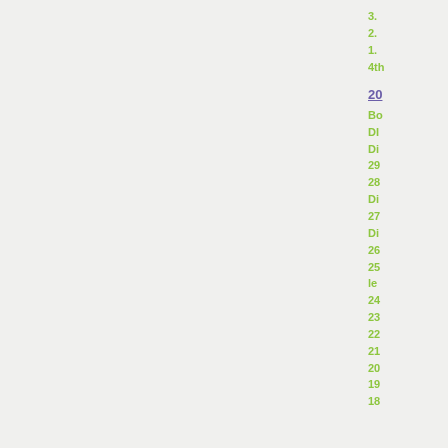3.
2.
1.
4th
20
Bo
DI
Di
29
28
Di
27
Di
26
25
le
24
23
22
21
20
19
18